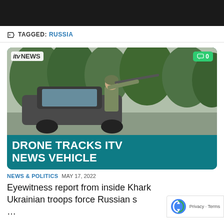TAGGED: RUSSIA
[Figure (screenshot): ITV News card showing a soldier aiming a rifle from a vehicle, with headline DRONE TRACKS ITV NEWS VEHICLE on teal background]
NEWS & POLITICS  MAY 17, 2022
Eyewitness report from inside Kharkiv as Ukrainian troops force Russian so... (continues)